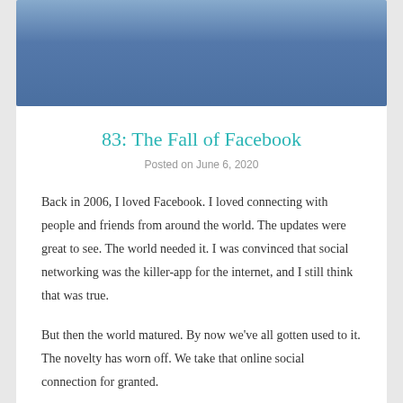[Figure (photo): Blue sky header image with gradient from light blue to steel blue]
83: The Fall of Facebook
Posted on June 6, 2020
Back in 2006, I loved Facebook. I loved connecting with people and friends from around the world. The updates were great to see. The world needed it. I was convinced that social networking was the killer-app for the internet, and I still think that was true.
But then the world matured. By now we've all gotten used to it. The novelty has worn off. We take that online social connection for granted.